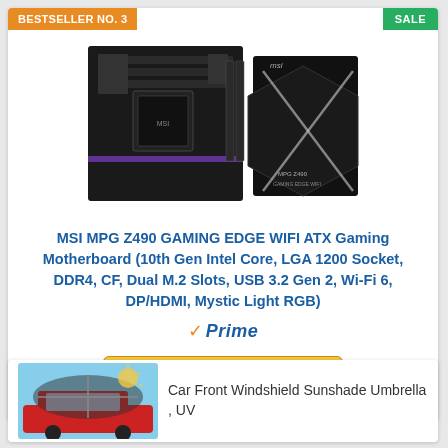BESTSELLER NO. 3
SALE
[Figure (photo): MSI MPG Z490 Gaming Edge WIFI motherboard and box product photo]
MSI MPG Z490 GAMING EDGE WIFI ATX Gaming Motherboard (10th Gen Intel Core, LGA 1200 Socket, DDR4, CF, Dual M.2 Slots, USB 3.2 Gen 2, Wi-Fi 6, DP/HDMI, Mystic Light RGB)
[Figure (logo): Amazon Prime logo with checkmark]
Buy on Amazon
Car Front Windshield Sunshade Umbrella , UV